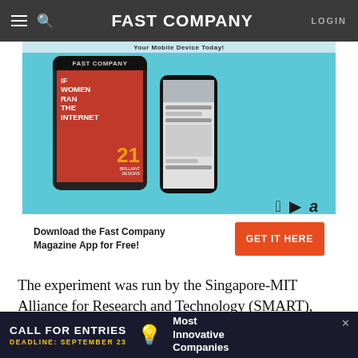FAST COMPANY — LOGIN
[Figure (screenshot): Fast Company magazine app advertisement banner showing a tablet with 'IF WOMEN RAN THE INTERNET' cover and a smartphone, with Download the Fast Company Magazine App for Free! GET IT HERE call-to-action button, and store icons for Apple, Google Play, and Amazon.]
The experiment was run by the Singapore-MIT Alliance for Research and Technology (SMART), headed up by MIT professor Daniela Rus. Carts ferried park visitors around between ten stations, where pickups could be scheduled, and riders were asked to fill out a questionnaire after riding. Ninety-
[Figure (screenshot): Advertisement banner: CALL FOR ENTRIES | DEADLINE: SEPTEMBER 23 | Most Innovative Companies (with lightbulb icon)]